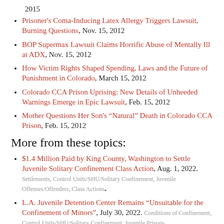2015
Prisoner's Coma-Inducing Latex Allergy Triggers Lawsuit, Burning Questions, Nov. 15, 2012
BOP Supermax Lawsuit Claims Horrific Abuse of Mentally Ill at ADX, Nov. 15, 2012
How Victim Rights Shaped Spending, Laws and the Future of Punishment in Colorado, March 15, 2012
Colorado CCA Prison Uprising: New Details of Unheeded Warnings Emerge in Epic Lawsuit, Feb. 15, 2012
Mother Questions Her Son's “Natural” Death in Colorado CCA Prison, Feb. 15, 2012
More from these topics:
$1.4 Million Paid by King County, Washington to Settle Juvenile Solitary Confinement Class Action, Aug. 1, 2022. Settlements, Control Units/SHU/Solitary Confinement, Juvenile Offenses/Offenders, Class Actions.
L.A. Juvenile Detention Center Remains “Unsuitable for the Confinement of Minors”, July 30, 2022. Conditions of Confinement, Control Units/SHU/Solitary Confinement, Juvenile Prisons.
Mentally Ill Maine State Prisoner Finally Leaves Solitary, But